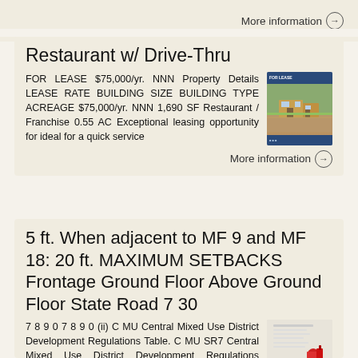More information →
Restaurant w/ Drive-Thru
FOR LEASE $75,000/yr. NNN Property Details LEASE RATE BUILDING SIZE BUILDING TYPE ACREAGE $75,000/yr. NNN 1,690 SF Restaurant / Franchise 0.55 AC Exceptional leasing opportunity for ideal for a quick service
More information →
5 ft. When adjacent to MF 9 and MF 18: 20 ft. MAXIMUM SETBACKS Frontage Ground Floor Above Ground Floor State Road 7 30
7 8 9 0 7 8 9 0 (ii) C MU Central Mixed Use District Development Regulations Table. C MU SR7 Central Mixed Use District Development Regulations MAXIMUM